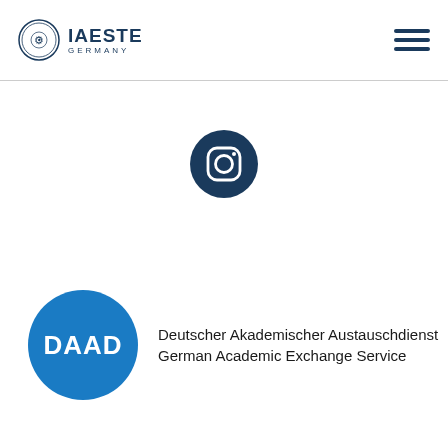IAESTE GERMANY
[Figure (logo): Instagram icon — dark teal circle with white Instagram camera outline logo]
[Figure (logo): DAAD logo — blue circle with white text 'DAAD' alongside text 'Deutscher Akademischer Austauschdienst / German Academic Exchange Service']